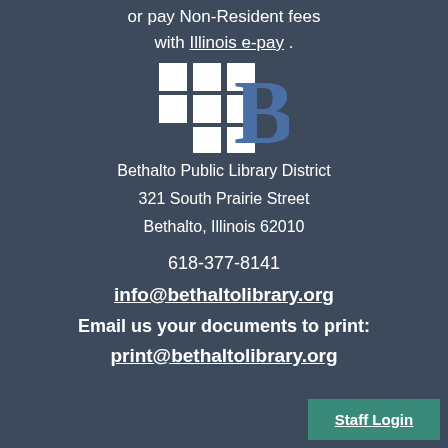or pay Non-Resident fees with Illinois e-pay .
[Figure (logo): Bethalto Public Library District logo: a 3x3 grid of white squares (with bottom-left missing) next to a large blue serif letter B]
Bethalto Public Library District
321 South Prairie Street
Bethalto, Illinois 62010
618-377-8141
info@bethaltolibrary.org
Email us your documents to print:
print@bethaltolibrary.org
Staff Login